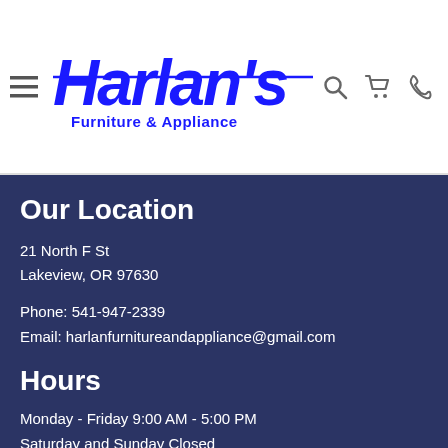[Figure (logo): Harlan's Furniture & Appliance logo in blue stylized text]
Our Location
21 North F St
Lakeview, OR 97630
Phone: 541-947-2339
Email: harlanfurnitureandappliance@gmail.com
Hours
Monday - Friday 9:00 AM - 5:00 PM
Saturday and Sunday Closed
Connect With Us